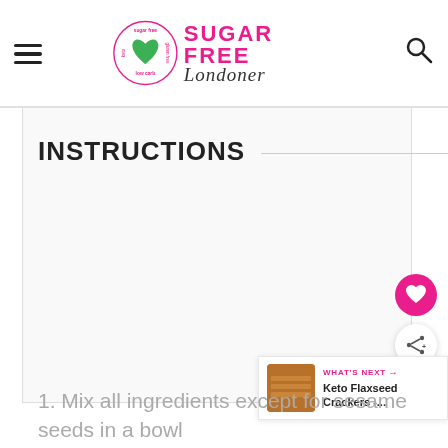SUGAR FREE Londoner
INSTRUCTIONS
[Figure (screenshot): Large white/light grey blank content area below the INSTRUCTIONS heading, representing a recipe page in progress]
1. Mix all ingredients except for sesame seeds in a bowl